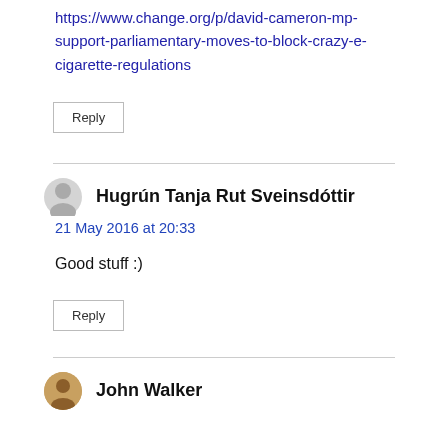https://www.change.org/p/david-cameron-mp-support-parliamentary-moves-to-block-crazy-e-cigarette-regulations
Reply
Hugrún Tanja Rut Sveinsdóttir
21 May 2016 at 20:33
Good stuff :)
Reply
John Walker